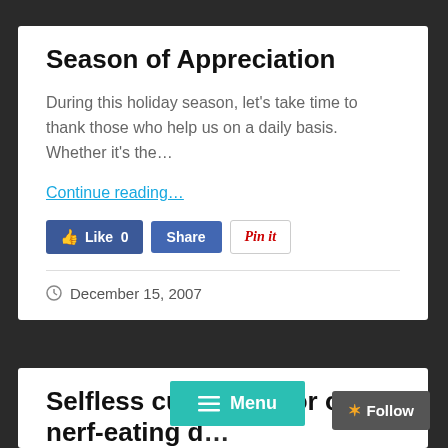Season of Appreciation
During this holiday season, let's take time to thank those who help us on a daily basis. Whether it's the...
Continue reading...
[Figure (screenshot): Social sharing buttons: Like 0 (Facebook), Share (Facebook), Pin it (Pinterest)]
December 15, 2007
Selfless custo…ce for our nerf-eating d…
[Figure (screenshot): Menu overlay button (teal) and Follow button (gray)]